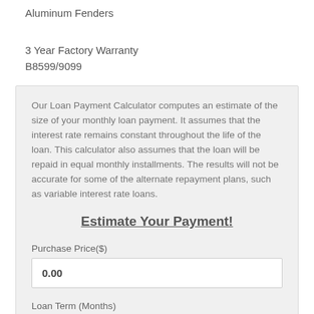Aluminum Fenders
3 Year Factory Warranty
B8599/9099
Our Loan Payment Calculator computes an estimate of the size of your monthly loan payment. It assumes that the interest rate remains constant throughout the life of the loan. This calculator also assumes that the loan will be repaid in equal monthly installments. The results will not be accurate for some of the alternate repayment plans, such as variable interest rate loans.
Estimate Your Payment!
Purchase Price($)
0.00
Loan Term (Months)
48